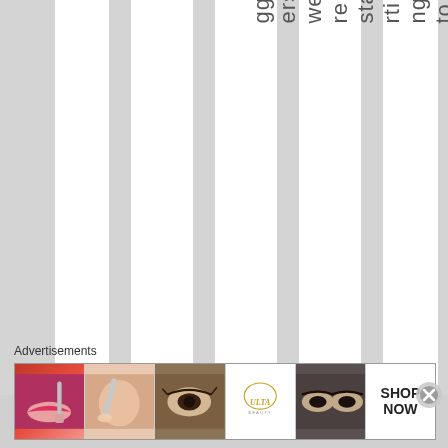[Figure (screenshot): A webpage view showing vertical columns of alternating white and gray stripes with vertically oriented text reading 'gg ers we re sta rti ng to bu g Ha rol d ab ou t th e' displayed in one of the center columns.]
Advertisements
[Figure (screenshot): Advertisement banner showing beauty/makeup products: lips with red lipstick and brush, face with powder brush, eye with dramatic makeup, ULTA Beauty logo, smoky eyes close-up, and SHOP NOW button.]